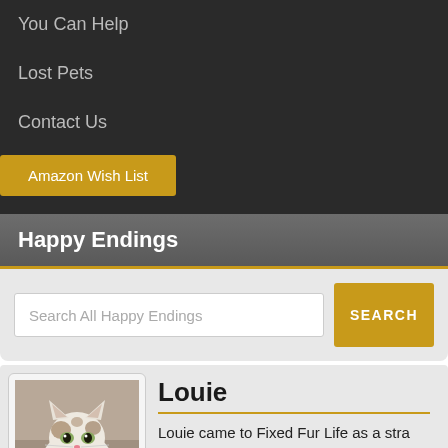You Can Help
Lost Pets
Contact Us
Amazon Wish List
Happy Endings
Search All Happy Endings
SEARCH
[Figure (photo): Photo of a white and brown tabby cat named Louie sitting and looking at the camera]
Louie
Louie came to Fixed Fur Life as a stra